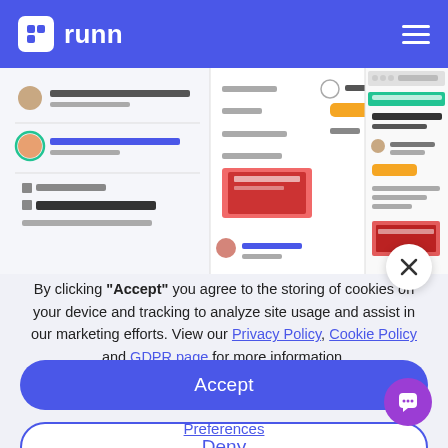runn
[Figure (screenshot): Screenshot of the Runn project management application showing tasks, comments, and approval notifications including 'Thank you! This looks great', 'Ajeet Cyrus approved this request', Marketing Campaigns section, and a landing page wireframe approval panel.]
By clicking "Accept" you agree to the storing of cookies on your device and tracking to analyze site usage and assist in our marketing efforts. View our Privacy Policy, Cookie Policy and GDPR page for more information.
Accept
Deny
Preferences